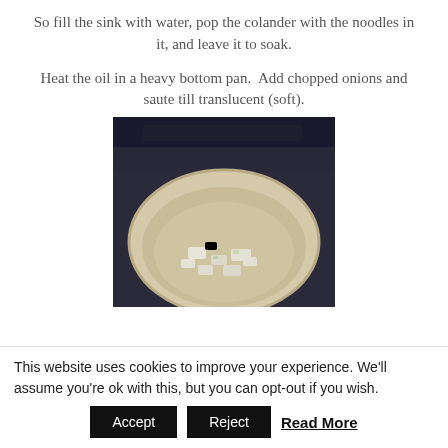So fill the sink with water, pop the colander with the noodles in it, and leave it to soak.
Heat the oil in a heavy bottom pan. Add chopped onions and saute till translucent (soft).
[Figure (photo): A heavy bottom pan on a stove viewed from above, containing chopped onions being sauteed in oil.]
This website uses cookies to improve your experience. We'll assume you're ok with this, but you can opt-out if you wish.
Accept | Reject | Read More